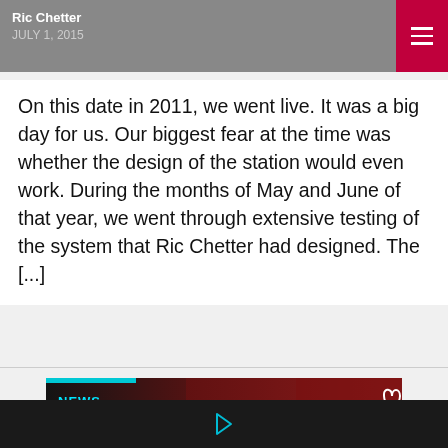Ric Chetter
JULY 1, 2015
On this date in 2011, we went live. It was a big day for us. Our biggest fear at the time was whether the design of the station would even work. During the months of May and June of that year, we went through extensive testing of the system that Ric Chetter had designed. The [...]
[Figure (photo): News article card showing a man's face against a dark red/curtain background with text 'LES PAUL & THE GIBSON POS GUITAR(S)' overlaid, with NEWS label and a heart/like icon showing 0 likes]
LES PAUL & THE GIBSON POS GUITAR(S)